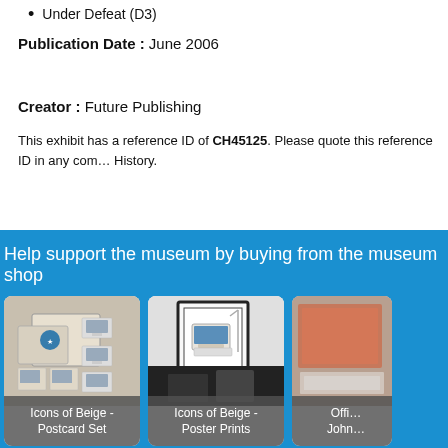Under Defeat (D3)
Publication Date : June 2006
Creator : Future Publishing
This exhibit has a reference ID of CH45125. Please quote this reference ID in any com… History.
Help support the museum by buying from the museum shop
[Figure (photo): Icons of Beige - Postcard Set product image showing vintage computer postcards]
Icons of Beige - Postcard Set
[Figure (photo): Icons of Beige - Poster Prints product image showing a framed vintage computer poster]
Icons of Beige - Poster Prints
[Figure (photo): Partially visible third product card (Offi... John...)]